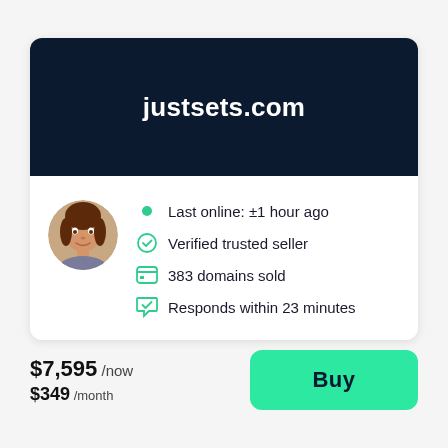justsets.com
Last online: ±1 hour ago
Verified trusted seller
383 domains sold
Responds within 23 minutes
$7,595 /now
$349 /month
Buy